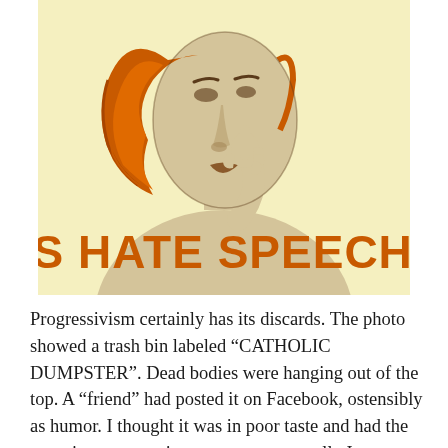[Figure (illustration): Vintage-style illustration on a pale yellow background showing a woman with orange/auburn hair holding her finger to her lips in a 'shush' gesture. Below the figure in large bold orange uppercase letters: 'IS HATE SPEECH!']
Progressivism certainly has its discards. The photo showed a trash bin labeled “CATHOLIC DUMPSTER”. Dead bodies were hanging out of the top. A “friend” had posted it on Facebook, ostensibly as humor. I thought it was in poor taste and had the temerity to say so in a comment; naturally I was immediately castigated by a mob for suppressing that opinion. The “friend” said that if I really